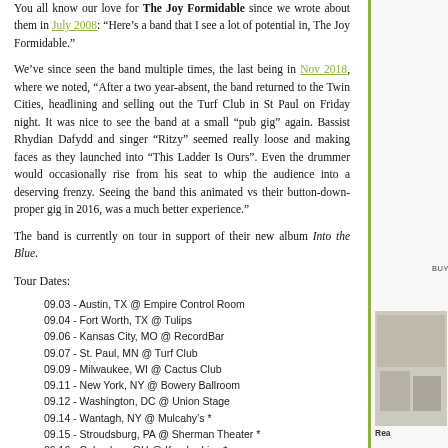You all know our love for The Joy Formidable since we wrote about them in July 2008: “Here’s a band that I see a lot of potential in, The Joy Formidable.”
We’ve since seen the band multiple times, the last being in Nov 2018, where we noted, “After a two year-absent, the band returned to the Twin Cities, headlining and selling out the Turf Club in St Paul on Friday night. It was nice to see the band at a small “pub gig” again. Bassist Rhydian Dafydd and singer “Ritzy” seemed really loose and making faces as they launched into “This Ladder Is Ours”. Even the drummer would occasionally rise from his seat to whip the audience into a deserving frenzy. Seeing the band this animated vs their button-down-proper gig in 2016, was a much better experience.”
The band is currently on tour in support of their new album Into the Blue.
Tour Dates:
09.03 - Austin, TX @ Empire Control Room
09.04 - Fort Worth, TX @ Tulips
09.06 - Kansas City, MO @ RecordBar
09.07 - St. Paul, MN @ Turf Club
09.09 - Milwaukee, WI @ Cactus Club
09.11 - New York, NY @ Bowery Ballroom
09.12 - Washington, DC @ Union Stage
09.14 - Wantagh, NY @ Mulcahy’s *
09.15 - Stroudsburg, PA @ Sherman Theater *
09.16 - Columbus, OH @ Kemba Live *
09.17 - Chicago, IL @ Riot Fest
09.18 - Grand Rapids, RI @ GLC Live at 20 Monroe *